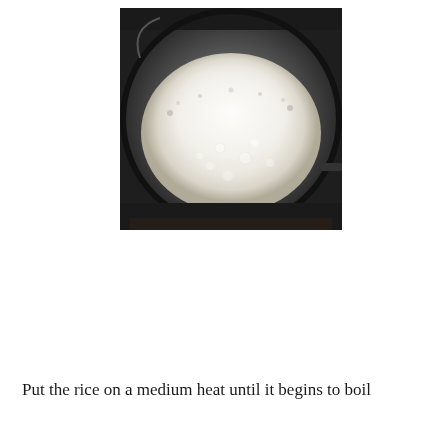[Figure (photo): A close-up photo of rice cooking in a dark/black pot on medium heat, showing the milky white starchy water beginning to bubble and boil around the edges of the pot.]
Put the rice on a medium heat until it begins to boil